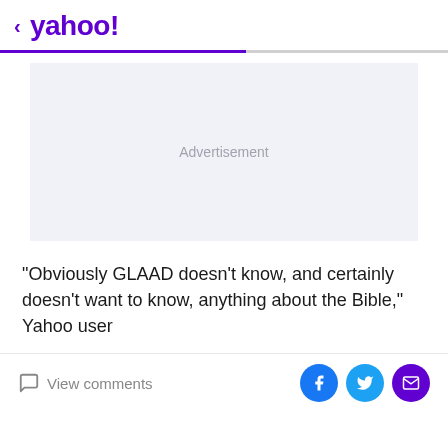< yahoo!
[Figure (other): Advertisement placeholder box with light gray background and 'Advertisement' text centered]
"Obviously GLAAD doesn't know, and certainly doesn't want to know, anything about the Bible," Yahoo user
View comments